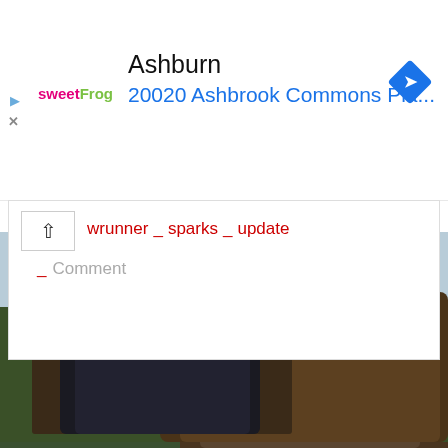[Figure (screenshot): Advertisement banner for sweetFrog frozen yogurt in Ashburn, showing logo, location name 'Ashburn', address '20020 Ashbrook Commons Pla...', navigation/direction diamond icon, play and close icons on the left.]
Ashburn
20020 Ashbrook Commons Pla...
[Figure (infographic): Social interaction bar with upvote caret, action links: wrunner, sparks, update, and Comment link]
wrunner _ sparks _ update
_ Comment
[Figure (photo): Two men wearing black cowboy hats and leather jackets in an outdoor western setting. The man on the left is younger, wearing sunglasses, shown in a smaller inset photo. The man on the right is older with a gray mustache, shown in the main larger background photo. Appears to be from the TV show Yellowstone.]